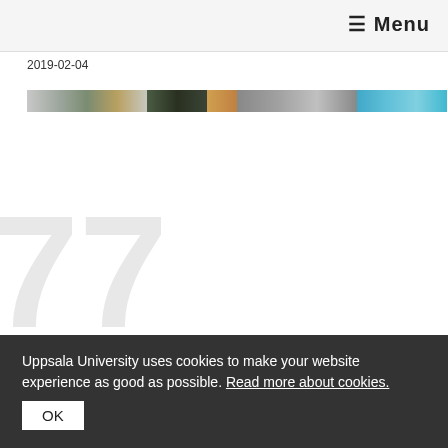≡ Menu
2019-02-04
[Figure (photo): A horizontal strip of images showing various scenes including nature, a face, and a blue sky/water scene]
77
Welcome to a new episode of The AMR Studio! This time,
Uppsala University uses cookies to make your website experience as good as possible. Read more about cookies.